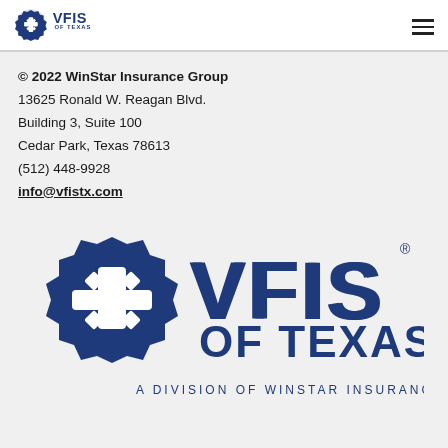[Figure (logo): VFIS of Texas logo — small version in top navigation bar, navy blue snowflake/star badge icon with VFIS OF TEXAS text]
© 2022 WinStar Insurance Group
13625 Ronald W. Reagan Blvd.
Building 3, Suite 100
Cedar Park, Texas 78613
(512) 448-9928
info@vfistx.com
[Figure (logo): Large VFIS of Texas logo — navy blue snowflake/maltese cross badge icon on left, VFIS text in large navy bold, OF TEXAS below, A DIVISION OF WINSTAR INSURANCE GROUP in small caps beneath]